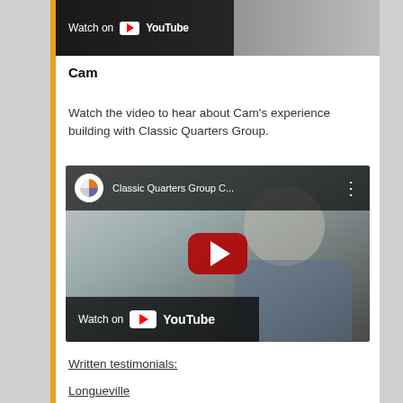[Figure (screenshot): Partial YouTube video thumbnail at top of page showing Watch on YouTube overlay bar]
Cam
Watch the video to hear about Cam's experience building with Classic Quarters Group.
[Figure (screenshot): YouTube embedded video player showing Classic Quarters Group C... with play button and Watch on YouTube bar at bottom, man in plaid shirt visible]
Written testimonials:
Longueville